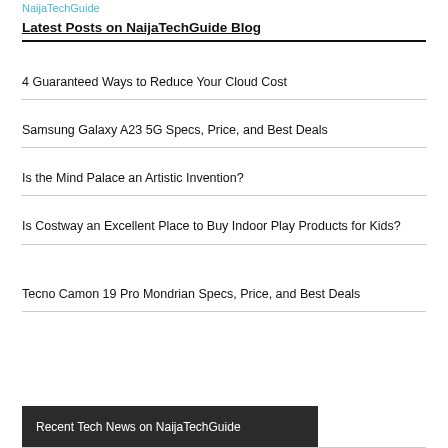NaijaTechGuide
Latest Posts on NaijaTechGuide Blog
4 Guaranteed Ways to Reduce Your Cloud Cost
Samsung Galaxy A23 5G Specs, Price, and Best Deals
Is the Mind Palace an Artistic Invention?
Is Costway an Excellent Place to Buy Indoor Play Products for Kids?
Tecno Camon 19 Pro Mondrian Specs, Price, and Best Deals
Recent Tech News on NaijaTechGuide